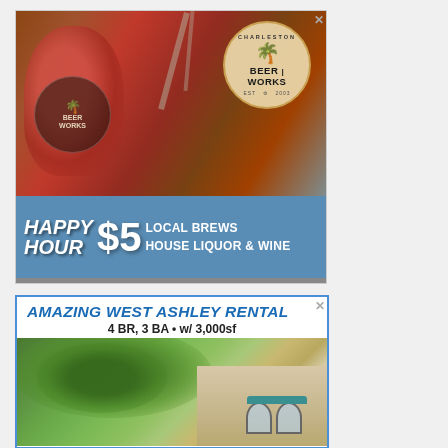[Figure (photo): Charleston Beer Works advertisement showing a glass of beer being filled from a tap, with the Charleston Beer Works circular logo (palm tree, beer works text, EST 2003). Bottom banner shows 'HAPPY HOUR $5 LOCAL BREWS HOUSE LIQUOR & WINE' on a blue background.]
[Figure (photo): Real estate rental advertisement for 'AMAZING WEST ASHLEY RENTAL' showing a house with lush green trees and arched windows. Text reads '4 BR, 3 BA • w/ 3,000sf'.]